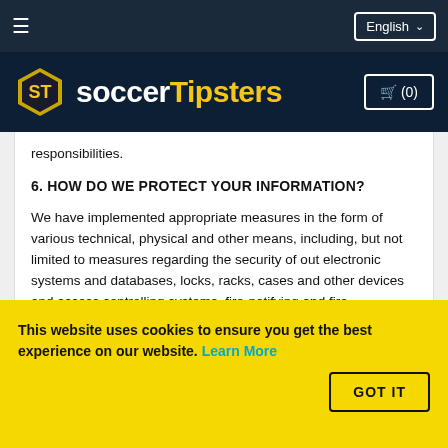≡   English ∨
[Figure (logo): SoccerTipsters logo with hexagonal icon and cart button showing (0)]
responsibilities.
6. HOW DO WE PROTECT YOUR INFORMATION?
We have implemented appropriate measures in the form of various technical, physical and other means, including, but not limited to measures regarding the security of out electronic systems and databases, locks, racks, cases and other devices and access controlling systems, fire-notifying and fire extinguishing systems. These means aim at
This website uses cookies to ensure you get the best experience on our website. Learn More
GOT IT